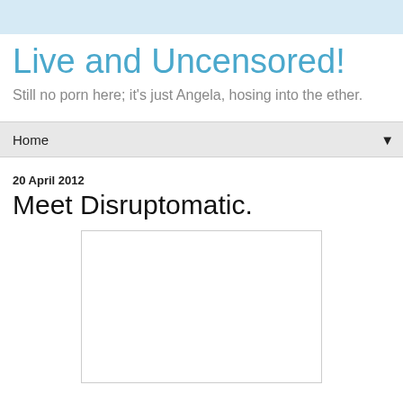Live and Uncensored!
Still no porn here; it's just Angela, hosing into the ether.
Home ▼
20 April 2012
Meet Disruptomatic.
[Figure (other): Embedded white box/image placeholder]